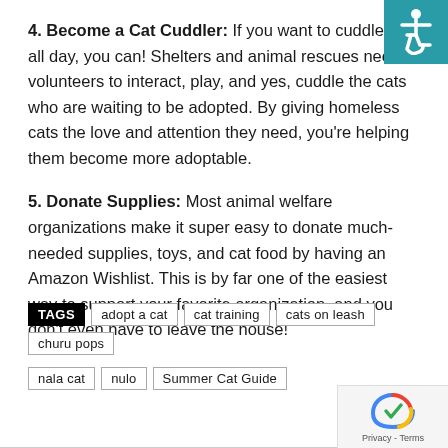4. Become a Cat Cuddler: If you want to cuddle cats all day, you can! Shelters and animal rescues need volunteers to interact, play, and yes, cuddle the cats who are waiting to be adopted. By giving homeless cats the love and attention they need, you're helping them become more adoptable.
5. Donate Supplies: Most animal welfare organizations make it super easy to donate much-needed supplies, toys, and cat food by having an Amazon Wishlist. This is by far one of the easiest way to support your favorite organization, and you don't even have to leave the house!
TAGS: adopt a cat, cat training, cats on leash, churu pops, nala cat, nulo, Summer Cat Guide